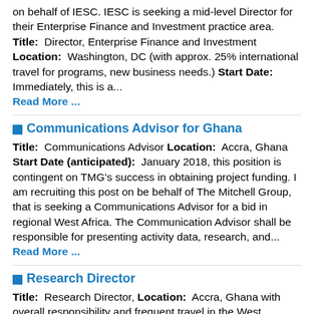on behalf of IESC. IESC is seeking a mid-level Director for their Enterprise Finance and Investment practice area.  Title:  Director, Enterprise Finance and Investment  Location:  Washington, DC (with approx. 25% international travel for programs, new business needs.)  Start Date:  Immediately, this is a...
Read More ...
Communications Advisor for Ghana
Title:  Communications Advisor  Location:  Accra, Ghana  Start Date (anticipated):  January 2018, this position is contingent on TMG's success in obtaining project funding. I am recruiting this post on be behalf of The Mitchell Group, that is seeking a Communications Advisor for a bid in regional West Africa. The Communication Advisor shall be responsible for presenting activity data, research, and...
Read More ...
Research Director
Title:  Research Director,  Location:  Accra, Ghana with overall responsibility and frequent travel in the West Africa region.  Start Date (anticipated):  January 2018...